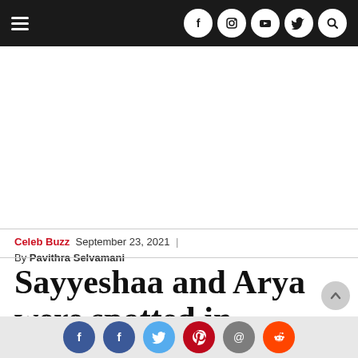Navigation bar with hamburger menu and social icons (Facebook, Instagram, YouTube, Twitter, Search)
[Figure (other): Advertisement/blank white space placeholder]
Celeb Buzz  September 23, 2021  |  By Pavithra Selvamani
Sayyeshaa and Arya were spotted in
Social share buttons: Facebook, Facebook, Twitter, Pinterest, Email, Reddit